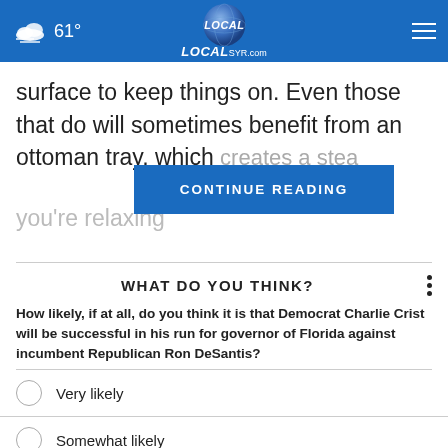61° LOCAL SYR.com
surface to keep things on. Even those that do will sometimes benefit from an ottoman tray, which creates a stea... tter where you're relaxing...
CONTINUE READING
WHAT DO YOU THINK?
How likely, if at all, do you think it is that Democrat Charlie Crist will be successful in his run for governor of Florida against incumbent Republican Ron DeSantis?
Very likely
Somewhat likely
Not at all likely
Other (No opinion)